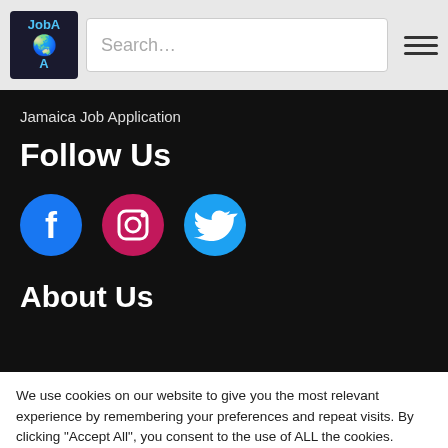JobA A [logo] Search… [hamburger menu]
Jamaica Job Application
Follow Us
[Figure (infographic): Three social media icon buttons: Facebook (blue circle with f icon), Instagram (pink/magenta circle with camera icon), Twitter (light blue circle with bird icon)]
About Us
We use cookies on our website to give you the most relevant experience by remembering your preferences and repeat visits. By clicking “Accept All”, you consent to the use of ALL the cookies. However, you may visit "Cookie Settings" to provide a controlled consent.
Cookie Settings   Accept All